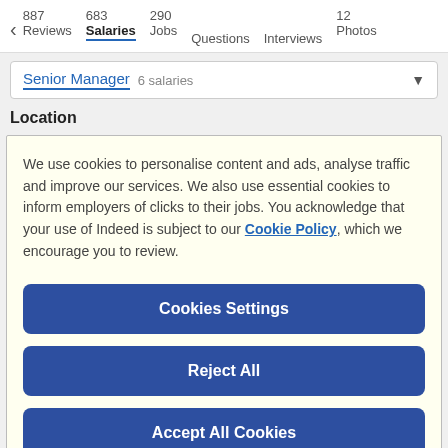< 887 Reviews | 683 Salaries | 290 Jobs | Questions | Interviews | 12 Photos
Senior Manager  6 salaries
Location
We use cookies to personalise content and ads, analyse traffic and improve our services. We also use essential cookies to inform employers of clicks to their jobs. You acknowledge that your use of Indeed is subject to our Cookie Policy, which we encourage you to review.
Cookies Settings
Reject All
Accept All Cookies